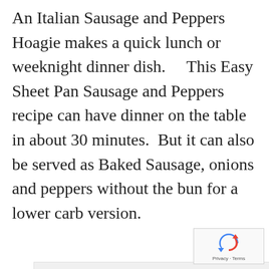An Italian Sausage and Peppers Hoagie makes a quick lunch or weeknight dinner dish.    This Easy Sheet Pan Sausage and Peppers recipe can have dinner on the table in about 30 minutes.  But it can also be served as Baked Sausage, onions and peppers without the bun for a lower carb version.
[Figure (other): Large image placeholder area with light gray background, three gray dots indicating a loading carousel, and UI buttons (heart/favorite button in teal, share button in white) on the right side. A reCAPTCHA widget appears in the bottom-right corner.]